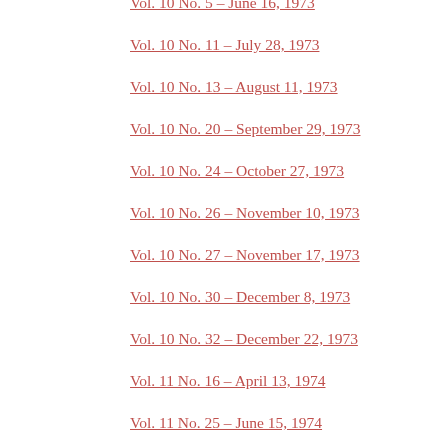Vol. 10 No. 5 – June 16, 1973
Vol. 10 No. 11 – July 28, 1973
Vol. 10 No. 13 – August 11, 1973
Vol. 10 No. 20 – September 29, 1973
Vol. 10 No. 24 – October 27, 1973
Vol. 10 No. 26 – November 10, 1973
Vol. 10 No. 27 – November 17, 1973
Vol. 10 No. 30 – December 8, 1973
Vol. 10 No. 32 – December 22, 1973
Vol. 11 No. 16 – April 13, 1974
Vol. 11 No. 25 – June 15, 1974
Vol. 13 No. 15 – June 2, 1975
Vol. 13 No. 19 – June 30, 1975